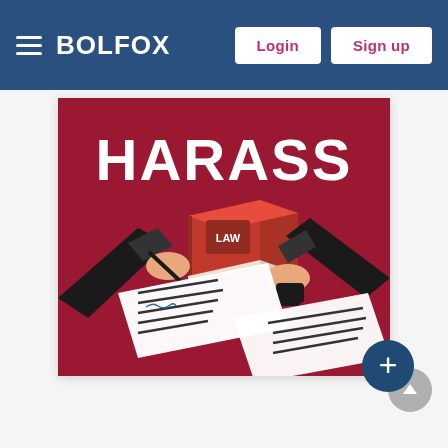BOLFOX — Login, Sign up
[Figure (illustration): Red background illustration with bold white text 'HARASS' at top. Two hands in business suits — one signing a document with a pen on the left, one stamping a document with an ink stamp on the right. A red law book labeled 'LAW' sits in the center background. Documents with signature lines and text bars are scattered on the surface.]